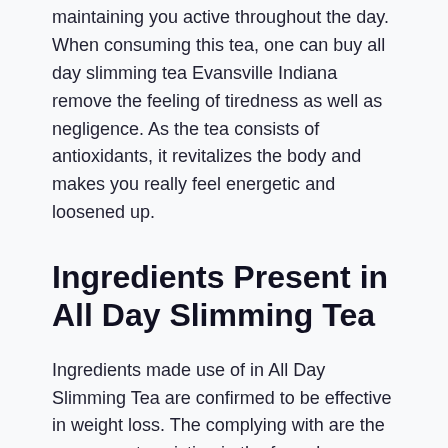maintaining you active throughout the day. When consuming this tea, one can buy all day slimming tea Evansville Indiana remove the feeling of tiredness as well as negligence. As the tea consists of antioxidants, it revitalizes the body and makes you really feel energetic and loosened up.
Ingredients Present in All Day Slimming Tea
Ingredients made use of in All Day Slimming Tea are confirmed to be effective in weight loss. The complying with are the components existing in the formula.
Orange Peel